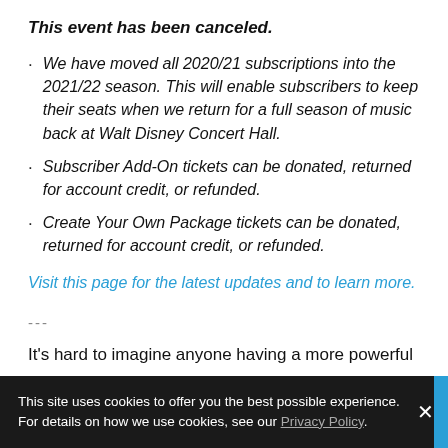This event has been canceled.
We have moved all 2020/21 subscriptions into the 2021/22 season. This will enable subscribers to keep their seats when we return for a full season of music back at Walt Disney Concert Hall.
Subscriber Add-On tickets can be donated, returned for account credit, or refunded.
Create Your Own Package tickets can be donated, returned for account credit, or refunded.
Visit this page for the latest updates and to learn more.
---
It's hard to imagine anyone having a more powerful
This site uses cookies to offer you the best possible experience. For details on how we use cookies, see our Privacy Policy.